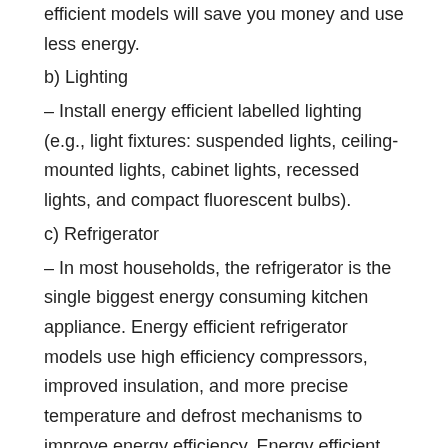efficient models will save you money and use less energy.
b) Lighting
– Install energy efficient labelled lighting (e.g., light fixtures: suspended lights, ceiling-mounted lights, cabinet lights, recessed lights, and compact fluorescent bulbs).
c) Refrigerator
– In most households, the refrigerator is the single biggest energy consuming kitchen appliance. Energy efficient refrigerator models use high efficiency compressors, improved insulation, and more precise temperature and defrost mechanisms to improve energy efficiency. Energy efficient refrigerators provide energy savings without sacrificing the features you want.
– Keep your refrigerator and freezer filled for most economical operation. Less cold air is lost when the door is opened in a filled refrigerator because the food helps retain the cold.
– Allow foods to partially cool before placing them in the refrigerator. It takes more energy to cool hot food. For added savings, cover foods and liquids. The moisture that is released by